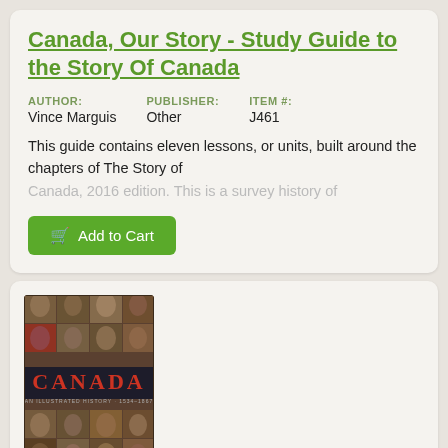Canada, Our Story - Study Guide to the Story Of Canada
AUTHOR: Vince Marguis   PUBLISHER: Other   ITEM #: J461
This guide contains eleven lessons, or units, built around the chapters of The Story of Canada, 2016 edition. This is a survey history of
[Figure (illustration): Book cover for 'Canada: An Illustrated History' showing a grid of historical portrait photographs with the title CANADA in red text.]
PRICE: